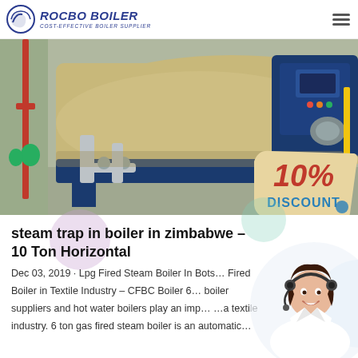ROCBO BOILER — COST-EFFECTIVE BOILER SUPPLIER
[Figure (photo): Industrial gas-fired steam boiler in a facility, large tan cylindrical vessel with blue burner assembly, red piping visible. Overlay shows a '10% DISCOUNT' badge in the lower right corner.]
steam trap in boiler in zimbabwe – 10 Ton Horizontal
Dec 03, 2019 · Lpg Fired Steam Boiler In Bots… Fired Boiler in Textile Industry – CFBC Boiler 6… boiler suppliers and hot water boilers play an imp… …a textile industry. 6 ton gas fired steam boiler is an automatic…